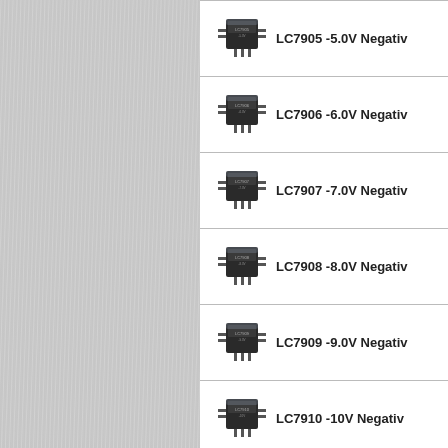[Figure (photo): Brushed metal / silver textured background panel on the left side of the page]
LC7905 -5.0V Negative voltage regulator IC chip photo and label
LC7906 -6.0V Negative voltage regulator IC chip photo and label
LC7907 -7.0V Negative voltage regulator IC chip photo and label
LC7908 -8.0V Negative voltage regulator IC chip photo and label
LC7909 -9.0V Negative voltage regulator IC chip photo and label
LC7910 -10V Negative voltage regulator IC chip photo and label